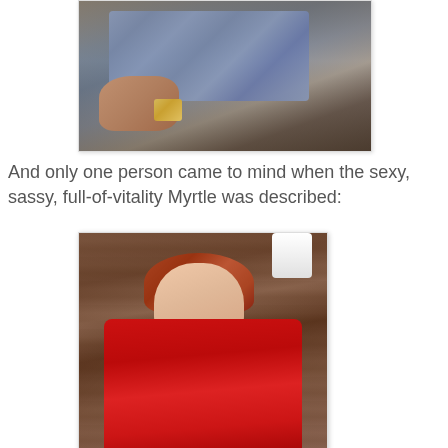[Figure (photo): A person sitting, wearing a blue-gray plaid shirt, with one hand visible resting on a surface, wearing a gold watch. Dark background.]
And only one person came to mind when the sexy, sassy, full-of-vitality Myrtle was described:
[Figure (photo): A woman with red/auburn updo hair wearing a red form-fitting dress with arms crossed, standing in front of a wood-paneled background with a white lamp visible.]